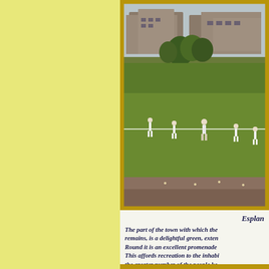[Figure (photo): Outdoor scene showing people playing cricket or a similar sport on a large green field. Buildings and trees are visible in the background. Several vehicles are parked along the far side. Multiple players in white clothing are visible on the field.]
Esplan
The part of the town with which the remains, is a delightful green, exten Round it is an excellent promenade This affords recreation to the inhabi the greater number of the people ke protection from the sun. Madox